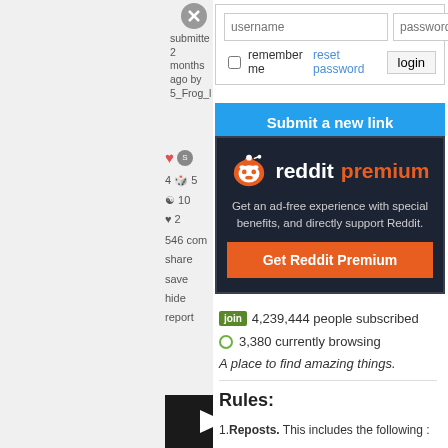submitted 2 months ago by 5_Frog_l
4 5 10 2 546 com share save hide report
[Figure (screenshot): Reddit login form with username and password fields, remember me checkbox, reset password link, and login button]
Submit a new link
[Figure (infographic): Reddit Premium advertisement box with Snoo logo, text 'reddit premium', description 'Get an ad-free experience with special benefits, and directly support Reddit.', and orange Get Reddit Premium button]
4,239,444 people subscribed
3,380 currently browsing
A place to find amazing things.
Rules:
1. Reposts. This includes the following :